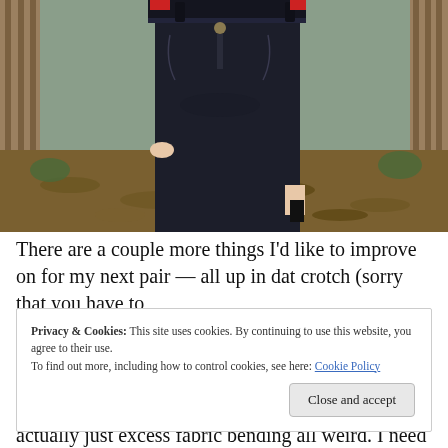[Figure (photo): Photo of a person from the waist down wearing dark navy/black slim jeans and a red and white striped top, standing outdoors in a backyard with a wooden fence and leafless trees/plants in the background.]
There are a couple more things I'd like to improve on for my next pair — all up in dat crotch (sorry that you have to
Privacy & Cookies: This site uses cookies. By continuing to use this website, you agree to their use.
To find out more, including how to control cookies, see here: Cookie Policy
Close and accept
actually just excess fabric bending all weird. I need to pull